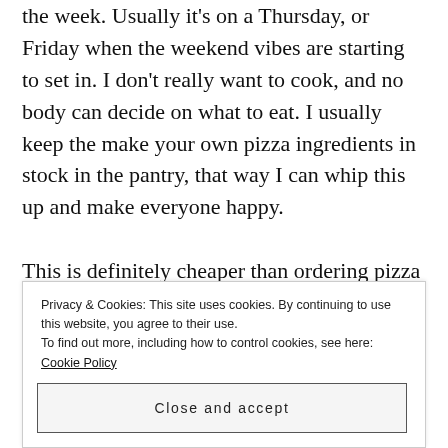the week. Usually it's on a Thursday, or Friday when the weekend vibes are starting to set in. I don't really want to cook, and no body can decide on what to eat. I usually keep the make your own pizza ingredients in stock in the pantry, that way I can whip this up and make everyone happy.

This is definitely cheaper than ordering pizza from somewhere! It's healthier than ordering pizza and even the frozen pizzas because their isn't as much preservatives! The boys also enjoy making their own pizza!
Privacy & Cookies: This site uses cookies. By continuing to use this website, you agree to their use. To find out more, including how to control cookies, see here: Cookie Policy
Close and accept